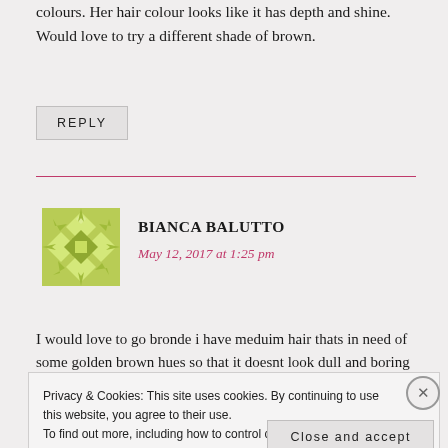colours. Her hair colour looks like it has depth and shine. Would love to try a different shade of brown.
REPLY
BIANCA BALUTTO
May 12, 2017 at 1:25 pm
[Figure (illustration): Green geometric snowflake/diamond pattern avatar icon]
I would love to go bronde i have meduim hair thats in need of some golden brown hues so that it doesnt look dull and boring #brondeisit
Privacy & Cookies: This site uses cookies. By continuing to use this website, you agree to their use. To find out more, including how to control cookies, see here: Cookie Policy
Close and accept